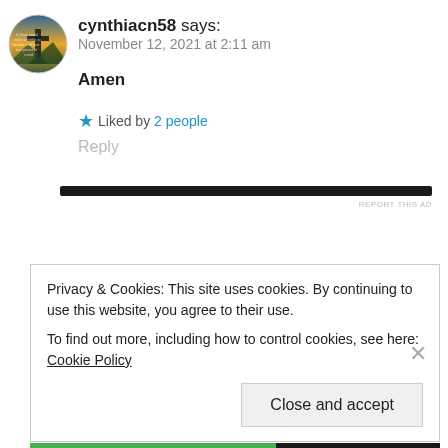cynthiacn58 says:
November 12, 2021 at 2:11 am
Amen
★ Liked by 2 people
Reply
[Figure (other): Dark horizontal ad banner bar]
REPORT THIS AD
Privacy & Cookies: This site uses cookies. By continuing to use this website, you agree to their use.
To find out more, including how to control cookies, see here: Cookie Policy
Close and accept